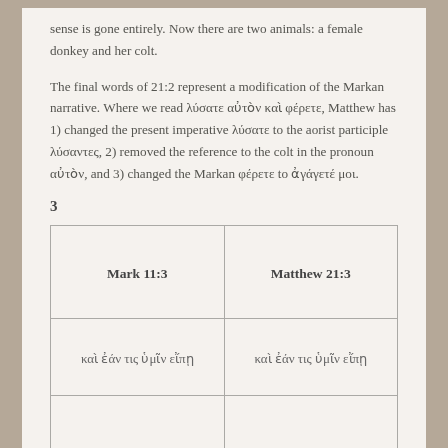sense is gone entirely. Now there are two animals: a female donkey and her colt.
The final words of 21:2 represent a modification of the Markan narrative. Where we read λύσατε αὐτὸν καὶ φέρετε, Matthew has 1) changed the present imperative λύσατε to the aorist participle λύσαντες, 2) removed the reference to the colt in the pronoun αὐτὸν, and 3) changed the Markan φέρετε to ἀγάγετέ μοι.
3
| Mark 11:3 | Matthew 21:3 |
| --- | --- |
| καὶ ἐάν τις ὑμῖν εἴπῃ | καὶ ἐάν τις ὑμῖν εἴπῃ |